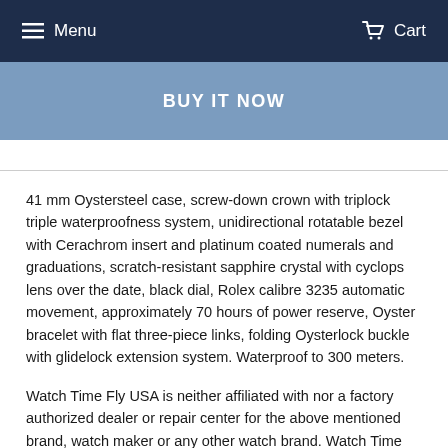Menu   Cart
BUY IT NOW
41 mm Oystersteel case, screw-down crown with triplock triple waterproofness system, unidirectional rotatable bezel with Cerachrom insert and platinum coated numerals and graduations, scratch-resistant sapphire crystal with cyclops lens over the date, black dial, Rolex calibre 3235 automatic movement, approximately 70 hours of power reserve, Oyster bracelet with flat three-piece links, folding Oysterlock buckle with glidelock extension system. Waterproof to 300 meters.
Watch Time Fly USA is neither affiliated with nor a factory authorized dealer or repair center for the above mentioned brand, watch maker or any other watch brand. Watch Time